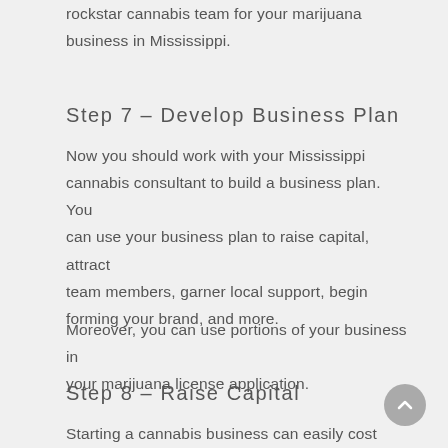rockstar cannabis team for your marijuana business in Mississippi.
Step 7 – Develop Business Plan
Now you should work with your Mississippi cannabis consultant to build a business plan. You can use your business plan to raise capital, attract team members, garner local support, begin forming your brand, and more.
Moreover, you can use portions of your business in your marijuana license application.
Step 8 – Raise Capital
Starting a cannabis business can easily cost millions to tens of millions of dollars to start. Obtaining the license alone can cost you hundreds